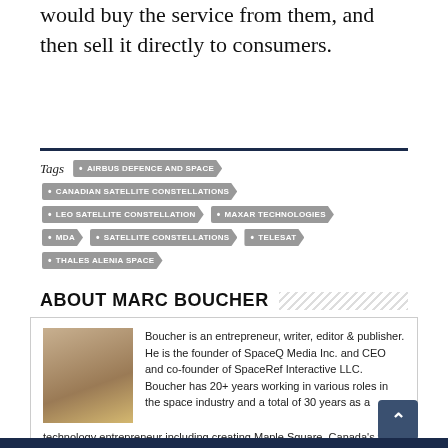would buy the service from them, and then sell it directly to consumers.
Tags  AIRBUS DEFENCE AND SPACE  CANADIAN SATELLITE CONSTELLATIONS  LEO SATELLITE CONSTELLATION  MAXAR TECHNOLOGIES  MDA  SATELLITE CONSTELLATIONS  TELESAT  THALES ALENIA SPACE
ABOUT MARC BOUCHER
[Figure (photo): Headshot of Marc Boucher, a middle-aged man with greying hair and beard, wearing sunglasses and a yellow polo shirt, with a cityscape in the background.]
Boucher is an entrepreneur, writer, editor & publisher. He is the founder of SpaceQ Media Inc. and CEO and co-founder of SpaceRef Interactive LLC. Boucher has 20+ years working in various roles in the space industry and a total of 30 years as a technology entrepreneur including creating Maple Square, Canada's first internet directory and search engine.